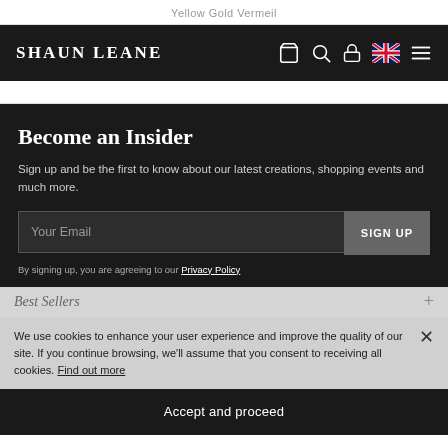Yellow Gold Vermeil
[Figure (screenshot): Shaun Leane website navigation bar with logo 'SHAUN LEANE' on dark background, icons for account, search, bag, UK flag, and menu]
Become an Insider
Sign up and be the first to know about our latest creations, shopping events and much more.
Your Email [input field] SIGN UP
By signing up, you are agreeing to our Privacy Policy
We use cookies to enhance your user experience and improve the quality of our site. If you continue browsing, we'll assume that you consent to receiving all cookies. Find out more
Best Sellers
Accept and proceed